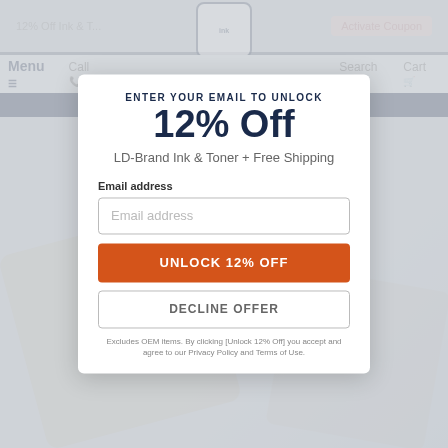[Figure (screenshot): Background website showing ink cartridge retailer with nav bar, coupon bar, and product area, dimmed behind modal overlay]
ENTER YOUR EMAIL TO UNLOCK
12% Off
LD-Brand Ink & Toner + Free Shipping
Email address
Email address
UNLOCK 12% OFF
DECLINE OFFER
Excludes OEM items. By clicking [Unlock 12% Off] you accept and agree to our Privacy Policy and Terms of Use.